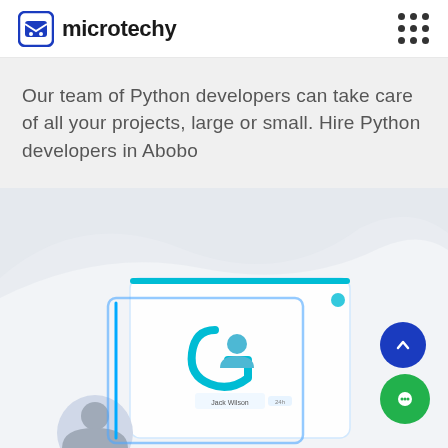microtechy
Our team of Python developers can take care of all your projects, large or small. Hire Python developers in Abobo
[Figure (illustration): A dashboard UI illustration showing a profile card with a person photo labeled 'Jack Wilson', a teal circular logo icon, and interface elements. The illustration is partially visible at the bottom of the page, set against a light gray background with a soft mountain/wave shape.]